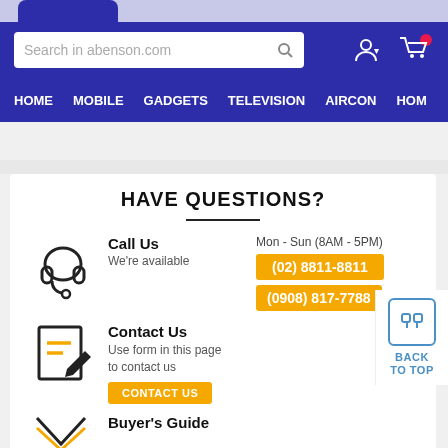Search in abenson.com | HOME | MOBILE | GADGETS | TELEVISION | AIRCON | HOM
HAVE QUESTIONS?
Call Us
We're available
Mon - Sun (8AM - 5PM)
(02) 8811-8811
(0908) 817-7788
Contact Us
Use form in this page to contact us
CONTACT US
Buyer's Guide